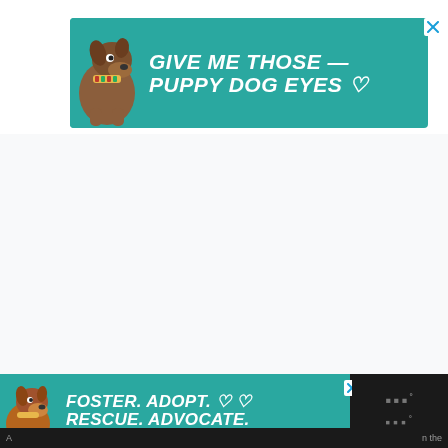[Figure (illustration): Top advertisement banner with teal background, dog image on left, and text 'GIVE ME THOSE PUPPY DOG EYES' in bold white italic font with decorative lines and heart symbol. Close X button in top-right corner.]
[Figure (illustration): Bottom advertisement banner with teal background, dog image on left, and text 'FOSTER. ADOPT. RESCUE. ADVOCATE.' in bold white italic font with heart outlines. Close X button. Dark bar on right with logo dots.]